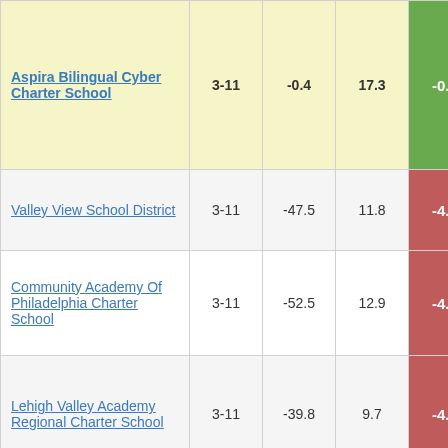| School Name | Grades | Col3 | Col4 | Score |
| --- | --- | --- | --- | --- |
| Aspira Bilingual Cyber Charter School | 3-11 | -0.4 | 17.3 | -0.02 |
| Valley View School District | 3-11 | -47.5 | 11.8 | -4.02 |
| Community Academy Of Philadelphia Charter School | 3-11 | -52.5 | 12.9 | -4.07 |
| Lehigh Valley Academy Regional Charter School | 3-11 | -39.8 | 9.7 | -4.08 |
| Somerset Area School District | 3-11 | -36.8 | 8.9 | -4.12 |
| Trinity Area School District | 3-11 | -28.0 | 6.7 | -4.18 |
| Dallas School | 3-11 | -38.6 | 9.2 | -4.18 |